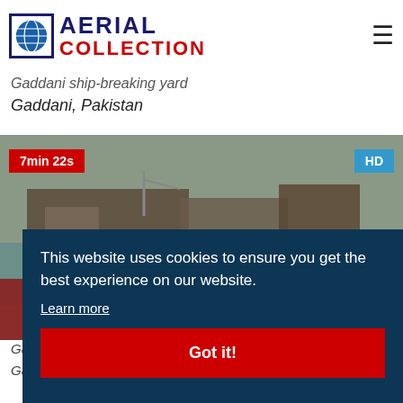AERIAL COLLECTION
Gaddani ship-breaking yard
Gaddani, Pakistan
[Figure (photo): Aerial video thumbnail of Gaddani ship-breaking yard showing ships beached along a coastline with industrial activity. Badge: 7min 22s (red, top-left), HD (blue, top-right).]
This website uses cookies to ensure you get the best experience on our website.
Learn more
Got it!
Gad...
Gad...